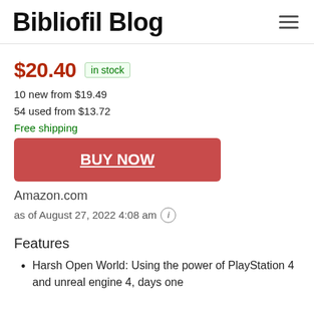Bibliofil Blog
$20.40 in stock
10 new from $19.49
54 used from $13.72
Free shipping
BUY NOW
Amazon.com
as of August 27, 2022 4:08 am
Features
Harsh Open World: Using the power of PlayStation 4 and unreal engine 4, days one